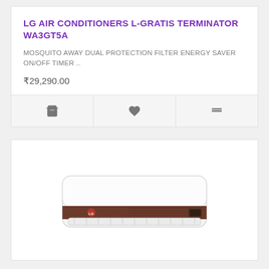LG AIR CONDITIONERS L-GRATIS TERMINATOR WA3GT5A
MOSQUITO AWAY DUAL PROTECTION FILTER ENERGY SAVER ON/OFF TIMER ..
₹29,290.00
[Figure (photo): LG air conditioner wall unit, white with a dark brown accent panel, front view]
[Figure (screenshot): Product card action bar with cart icon, heart/wishlist icon, and compare icon]